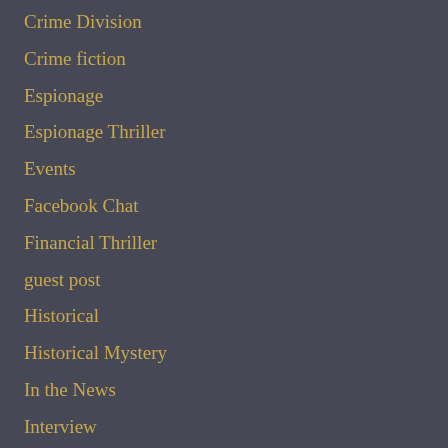Crime Division
Crime fiction
Espionage
Espionage Thriller
Events
Facebook Chat
Financial Thriller
guest post
Historical
Historical Mystery
In the News
Interview
Kickoff